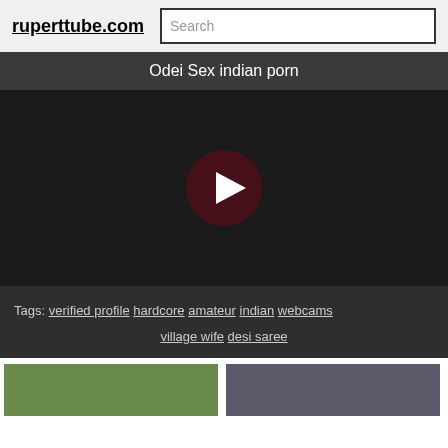ruperttube.com  Search
Odei Sex indian porn
[Figure (screenshot): Video player with black background and circular play button in dark red/maroon color]
Tags: verified profile  hardcore  amateur  indian  webcams  village wife  desi saree
[Figure (screenshot): Two video thumbnails at the bottom of the page]